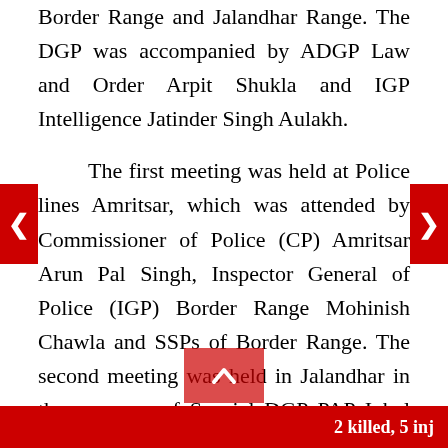Border Range and Jalandhar Range. The DGP was accompanied by ADGP Law and Order Arpit Shukla and IGP Intelligence Jatinder Singh Aulakh.
The first meeting was held at Police lines Amritsar, which was attended by Commissioner of Police (CP) Amritsar Arun Pal Singh, Inspector General of Police (IGP) Border Range Mohinish Chawla and SSPs of Border Range. The second meeting was held in Jalandhar in the presence of Special DGP PAP Iqbal Preet Singh Sahota, CP Jalandhar Gurpreet Singh Toor, DIG
2 killed, 5 inj